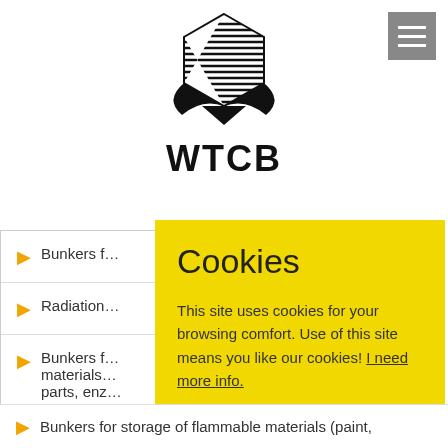[Figure (logo): WTCB logo — hexagonal shape with horizontal lines and wing-like black shapes below, with bold text WTCB underneath]
Bunkers f…
Radiation…
Bunkers f… materials… parts, enz…
[Figure (screenshot): Cookie consent overlay dialog on yellow background with title 'Cookies', message 'This site uses cookies for your browsing comfort. Use of this site means you like our cookies! I need more info.', and an OK button]
Bunkers for storage of flammable materials (paint,